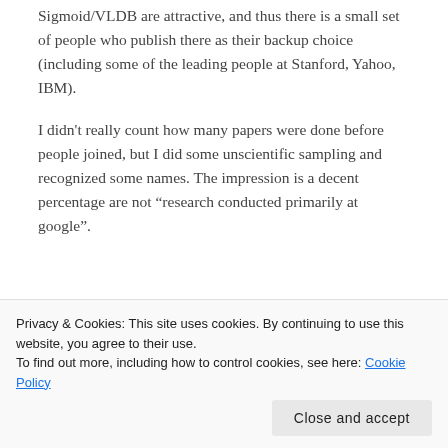Sigmoid/VLDB are attractive, and thus there is a small set of people who publish there as their backup choice (including some of the leading people at Stanford, Yahoo, IBM).
I didn't really count how many papers were done before people joined, but I did some unscientific sampling and recognized some names. The impression is a decent percentage are not “research conducted primarily at google”.
Privacy & Cookies: This site uses cookies. By continuing to use this website, you agree to their use.
To find out more, including how to control cookies, see here: Cookie Policy
Close and accept